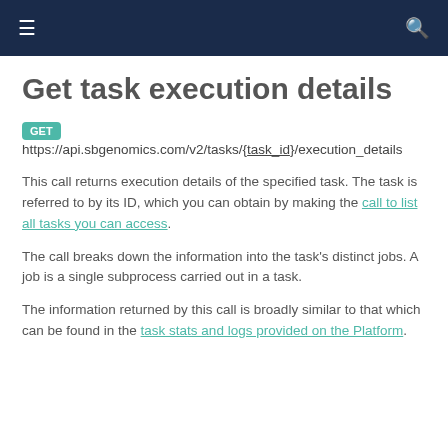≡  🔍
Get task execution details
GET https://api.sbgenomics.com/v2/tasks/{task_id}/execution_details
This call returns execution details of the specified task. The task is referred to by its ID, which you can obtain by making the call to list all tasks you can access.
The call breaks down the information into the task's distinct jobs. A job is a single subprocess carried out in a task.
The information returned by this call is broadly similar to that which can be found in the task stats and logs provided on the Platform.